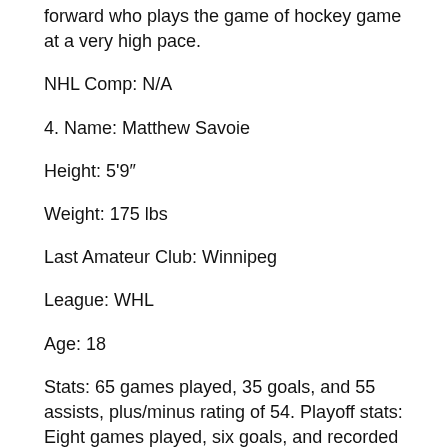forward who plays the game of hockey game at a very high pace.
NHL Comp: N/A
4. Name: Matthew Savoie
Height: 5'9"
Weight: 175 lbs
Last Amateur Club: Winnipeg
League: WHL
Age: 18
Stats: 65 games played, 35 goals, and 55 assists, plus/minus rating of 54. Playoff stats: Eight games played, six goals, and recorded four assists, plus/minus